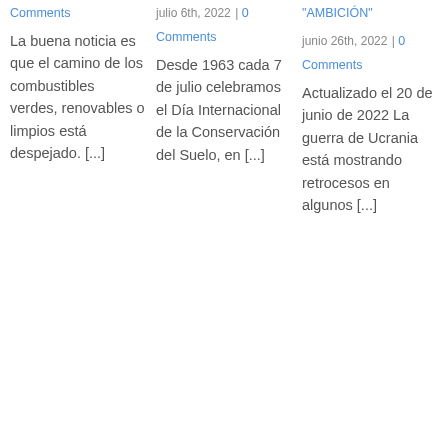Comments
La buena noticia es que el camino de los combustibles verdes, renovables o limpios está despejado. [...]
julio 6th, 2022 | 0 Comments
Desde 1963 cada 7 de julio celebramos el Día Internacional de la Conservación del Suelo, en [...]
"AMBICIÓN"
junio 26th, 2022 | 0 Comments
Actualizado el 20 de junio de 2022 La guerra de Ucrania está mostrando retrocesos en algunos [...]